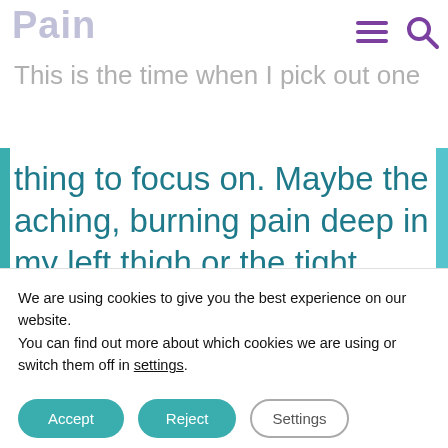Pain
[Figure (screenshot): Navigation icons: hamburger menu and search icon in purple]
This is the time when I pick out one thing to focus on. Maybe the aching, burning pain deep in my left thigh or the tight, weighted feeling in my chest that shows up when I'm anxious. As I continue breathing, I focus on the feeling, imagining the breath to reach right there. I may
We are using cookies to give you the best experience on our website.
You can find out more about which cookies we are using or switch them off in settings.
Accept
Reject
Settings